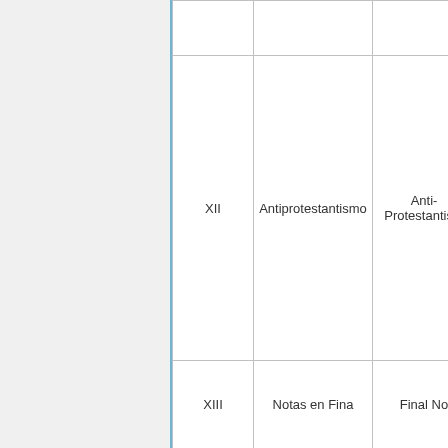|  |  |
| --- | --- |
| XII | Antiprotestantismo | Anti-Protestantism |
| XIII | Notas en Fina | Final No |